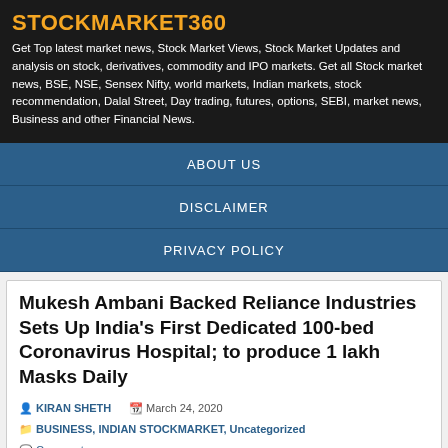STOCKMARKET360
Get Top latest market news, Stock Market Views, Stock Market Updates and analysis on stock, derivatives, commodity and IPO markets. Get all Stock market news, BSE, NSE, Sensex Nifty, world markets, Indian markets, stock recommendation, Dalal Street, Day trading, futures, options, SEBI, market news, Business and other Financial News.
ABOUT US
DISCLAIMER
PRIVACY POLICY
Mukesh Ambani Backed Reliance Industries Sets Up India’s First Dedicated 100-bed Coronavirus Hospital; to produce 1 lakh Masks Daily
KIRAN SHETH   March 24, 2020
BUSINESS, INDIAN STOCKMARKET, Uncategorized
Comments
[Figure (photo): Two images side by side: left shows a medical worker in blue protective gear, right shows the Reliance Industries logo (circular gold outline)]